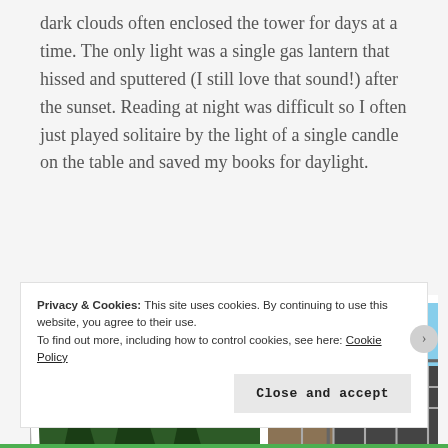dark clouds often enclosed the tower for days at a time. The only light was a single gas lantern that hissed and sputtered (I still love that sound!) after the sunset. Reading at night was difficult so I often just played solitaire by the light of a single candle on the table and saved my books for daylight.
[Figure (photo): Two Polaroid-style photographs laid on a gray surface. The left photo shows pine trees against a blue sky. The right photo shows a building structure with scaffolding against a blue sky.]
Privacy & Cookies: This site uses cookies. By continuing to use this website, you agree to their use.
To find out more, including how to control cookies, see here: Cookie Policy
Close and accept